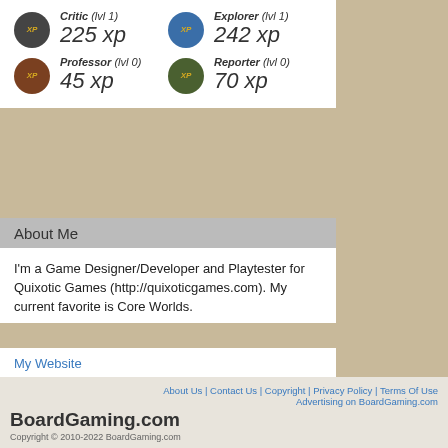Critic (lvl 1) 225 xp | Explorer (lvl 1) 242 xp | Professor (lvl 0) 45 xp | Reporter (lvl 0) 70 xp
About Me
I'm a Game Designer/Developer and Playtester for Quixotic Games (http://quixoticgames.com). My current favorite is Core Worlds.
My Website
TheMaka's Followers (1)
[Figure (photo): Follower thumbnail image]
About Us | Contact Us | Copyright | Privacy Policy | Terms Of Use | Advertising on BoardGaming.com | BoardGaming.com | Copyright © 2010-2022 BoardGaming.com